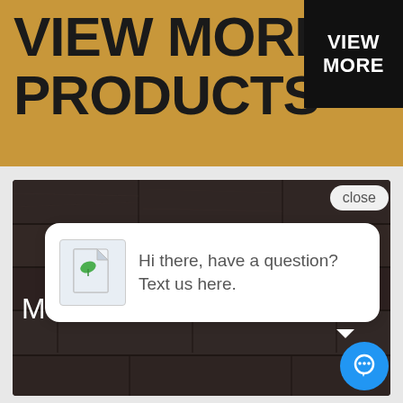VIEW MORE PRODUCTS
VIEW MORE
[Figure (screenshot): Dark wood flooring product image with partial text 'Ma' overlaid in white]
close
Hi there, have a question? Text us here.
[Figure (other): Blue circular chat/message button icon]